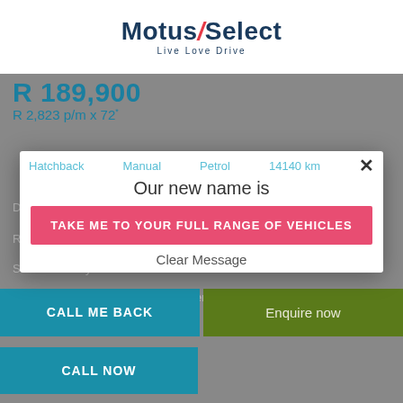[Figure (logo): Motus Select logo with 'Live Love Drive' tagline]
R 189,900
R 2,823 p/m x 72*
Hatchback   Manual   Petrol   14140 km
Our new name is
TAKE ME TO YOUR FULL RANGE OF VEHICLES
Demo models Power Steering, Aircon, and Abs.
Remainder of Service  Clear Message  der of Warranty,
Service History. PROFESSIONAL and ACCREDITED
finance and insurance (F&I) managers are at hand to
CALL ME BACK
Enquire now
CALL NOW